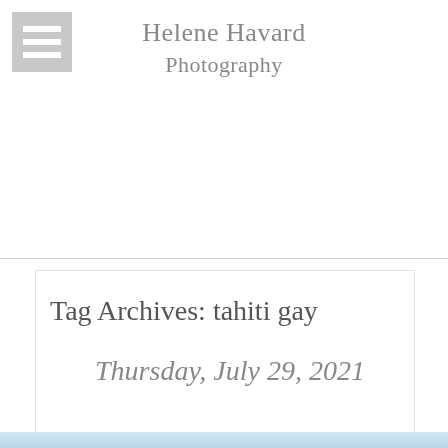Helene Havard Photography
Tag Archives: tahiti gay
Thursday, July 29, 2021
[Figure (photo): Partial photo strip at bottom of page showing sky/ocean scene]